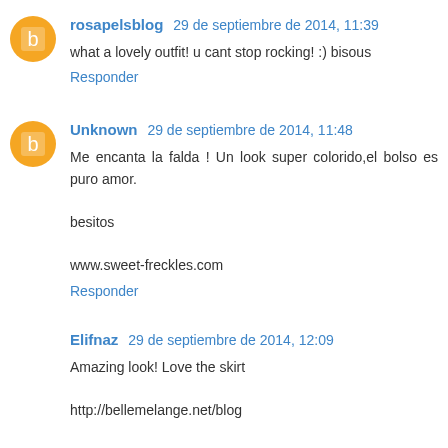rosapelsblog 29 de septiembre de 2014, 11:39
what a lovely outfit! u cant stop rocking! :) bisous
Responder
Unknown 29 de septiembre de 2014, 11:48
Me encanta la falda ! Un look super colorido,el bolso es puro amor.

besitos

www.sweet-freckles.com
Responder
Elifnaz 29 de septiembre de 2014, 12:09
Amazing look! Love the skirt
http://bellemelange.net/blog